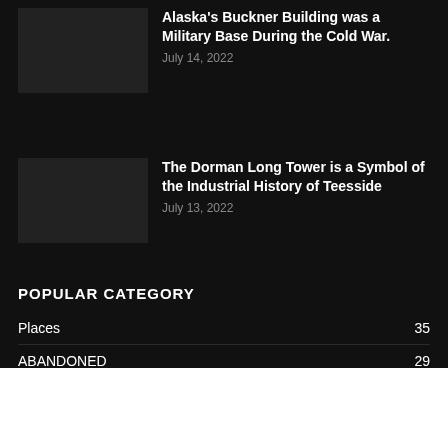Alaska's Buckner Building was a Military Base During the Cold War.
July 14, 2022
The Dorman Long Tower is a Symbol of the Industrial History of Teesside
July 13, 2022
POPULAR CATEGORY
Places 35
ABANDONED 29